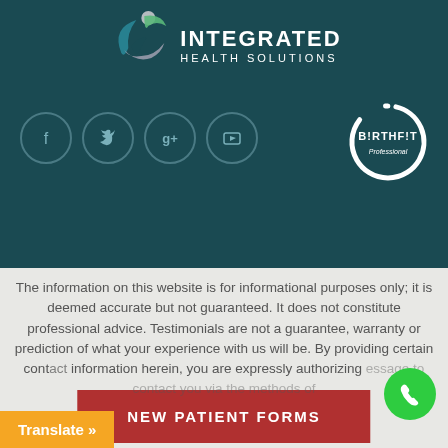[Figure (logo): Integrated Health Solutions logo with stylized figure and teal/green/silver colors]
[Figure (logo): BIRTHFIT Professional logo — white circle arc with BIRTHFIT text]
[Figure (infographic): Social media icons row: Facebook, Twitter, Google+, YouTube — circles on dark teal background]
NEW PATIENT FORMS
The information on this website is for informational purposes only; it is deemed accurate but not guaranteed. It does not constitute professional advice. Testimonials are not a guarantee, warranty or prediction of what your experience with us will be. By providing certain contact information herein, you are expressly authorizing the sender of this message to contact you via the methods of